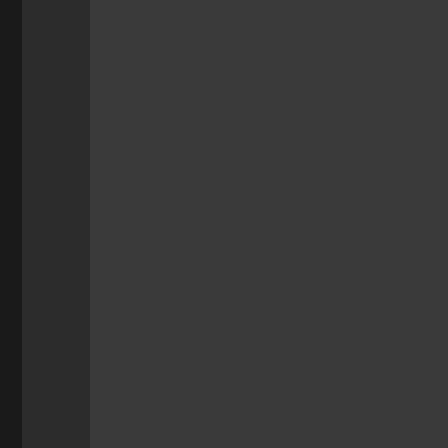we
up
to
exp
the
to
mak
you
cas
I
can
quo
my
nei
the
all
see
to
spe
rat
ele
and
shi
but
that